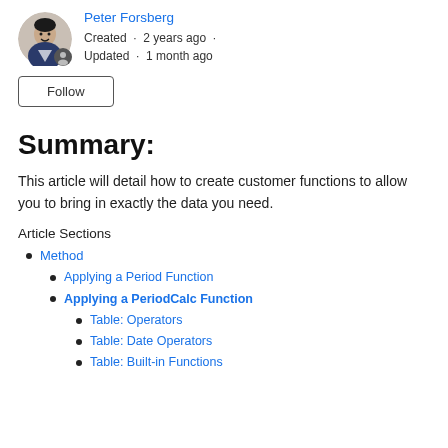[Figure (photo): Circular avatar photo of Peter Forsberg, a man in a suit smiling, with a small user icon badge at bottom-right.]
Peter Forsberg
Created · 2 years ago · Updated · 1 month ago
Follow
Summary:
This article will detail how to create customer functions to allow you to bring in exactly the data you need.
Article Sections
Method
Applying a Period Function
Applying a PeriodCalc Function
Table: Operators
Table: Date Operators
Table: Built-in Functions